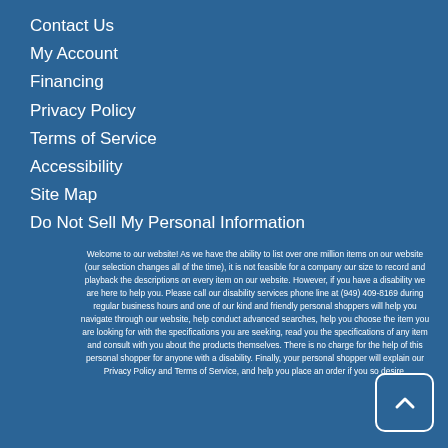Contact Us
My Account
Financing
Privacy Policy
Terms of Service
Accessibility
Site Map
Do Not Sell My Personal Information
Welcome to our website! As we have the ability to list over one million items on our website (our selection changes all of the time), it is not feasible for a company our size to record and playback the descriptions on every item on our website. However, if you have a disability we are here to help you. Please call our disability services phone line at (949) 409-8169 during regular business hours and one of our kind and friendly personal shoppers will help you navigate through our website, help conduct advanced searches, help you choose the item you are looking for with the specifications you are seeking, read you the specifications of any item and consult with you about the products themselves. There is no charge for the help of this personal shopper for anyone with a disability. Finally, your personal shopper will explain our Privacy Policy and Terms of Service, and help you place an order if you so desire.